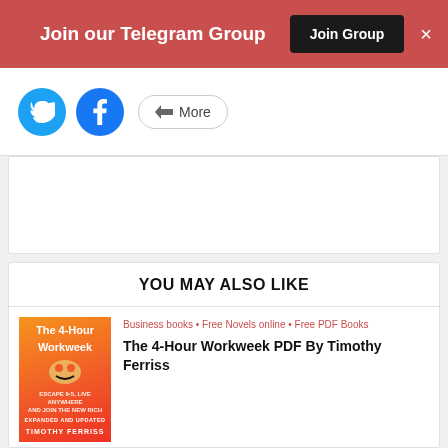Join our Telegram Group  Join Group  ×
[Figure (screenshot): Social share bar with Twitter and Facebook circle icon buttons and a More button]
[Figure (screenshot): White advertisement/empty content box]
YOU MAY ALSO LIKE
[Figure (photo): Book cover of The 4-Hour Workweek by Timothy Ferriss — orange/red gradient background]
Business books • Free Novels online • Free PDF Books
The 4-Hour Workweek PDF By Timothy Ferriss
[Figure (photo): Book cover of Unchosen Ruler by Maggie Cole — dark/black background with man's face]
FREE AUDIOBOOK • Free Novels online • Free PDF Books
Unchosen Ruler by Maggie Cole Pdf